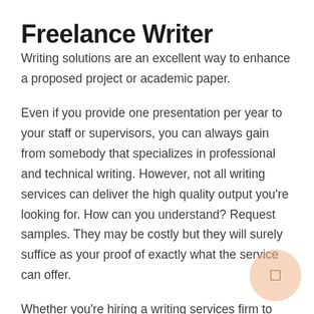Freelance Writer
Writing solutions are an excellent way to enhance a proposed project or academic paper.
Even if you provide one presentation per year to your staff or supervisors, you can always gain from somebody that specializes in professional and technical writing. However, not all writing services can deliver the high quality output you're looking for. How can you understand? Request samples. They may be costly but they will surely suffice as your proof of exactly what the service can offer.
Whether you're hiring a writing services firm to write your annual account, or your white papers to get a contest, you need to be very wary about picking out the best one.